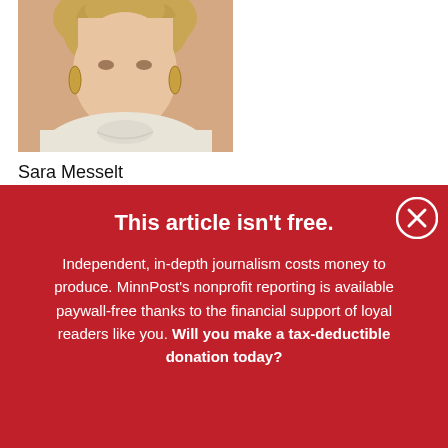[Figure (photo): Headshot photo of Sara Messelt, a woman with curly blonde hair wearing gold hoop earrings and a cream/white turtleneck or collared sweater, cropped to show face and upper chest.]
Sara Messelt
This article isn't free.
Independent, in-depth journalism costs money to produce. MinnPost's nonprofit reporting is available paywall-free thanks to the financial support of loyal readers like you. Will you make a tax-deductible donation today?
DONATE NOW